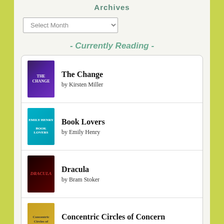Archives
Select Month
- Currently Reading -
The Change by Kirsten Miller
Book Lovers by Emily Henry
Dracula by Bram Stoker
Concentric Circles of Concern by W. Oscar Thompson